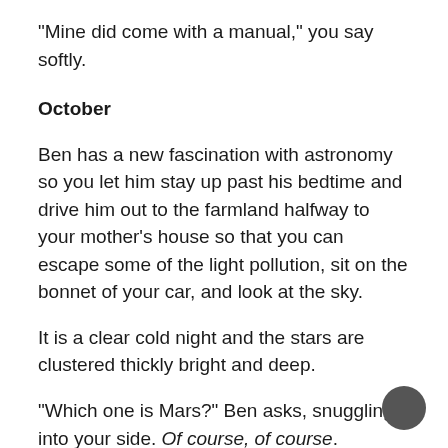“Mine did come with a manual,” you say softly.
October
Ben has a new fascination with astronomy so you let him stay up past his bedtime and drive him out to the farmland halfway to your mother’s house so that you can escape some of the light pollution, sit on the bonnet of your car, and look at the sky.
It is a clear cold night and the stars are clustered thickly bright and deep.
“Which one is Mars?” Ben asks, snuggling into your side. Of course, of course.
“There,” you say, pointing. You know where